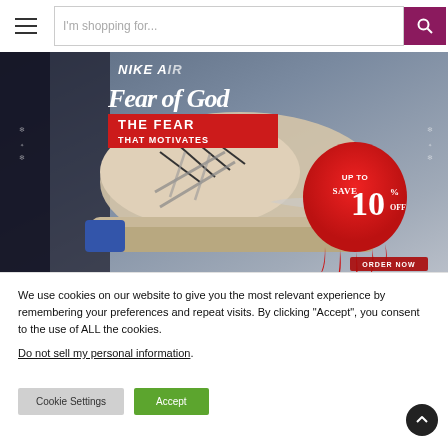I'm shopping for...
[Figure (photo): Nike Air Fear of God sneaker advertisement banner. Text overlay reads 'NIKE AIR', 'Fear of God', 'THE FEAR THAT MOTIVATES', and a red dripping paint blob with 'UP TO SAVE 10% OFF'. Bottom right shows 'ORDER NOW' button.]
We use cookies on our website to give you the most relevant experience by remembering your preferences and repeat visits. By clicking “Accept”, you consent to the use of ALL the cookies.
Do not sell my personal information.
Cookie Settings
Accept